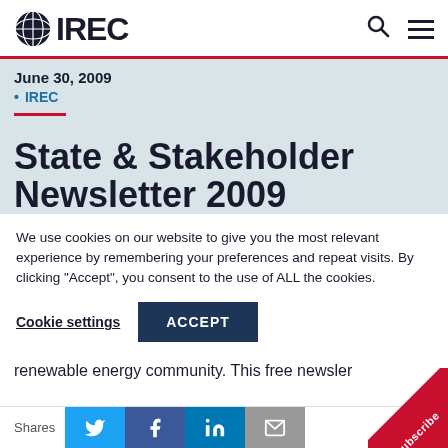IREC
June 30, 2009
IREC
State & Stakeholder Newsletter 2009
We use cookies on our website to give you the most relevant experience by remembering your preferences and repeat visits. By clicking “Accept”, you consent to the use of ALL the cookies.
Cookie settings  ACCEPT
renewable energy community. This free newsletter
Shares